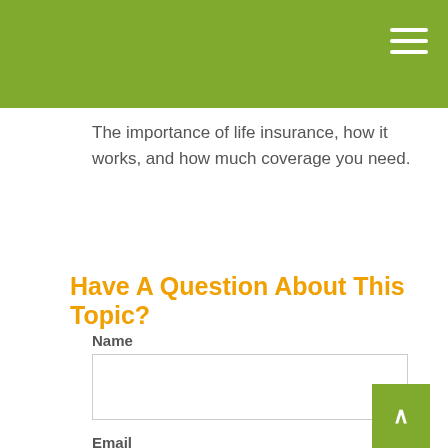The importance of life insurance, how it works, and how much coverage you need.
Have A Question About This Topic?
Name
Email